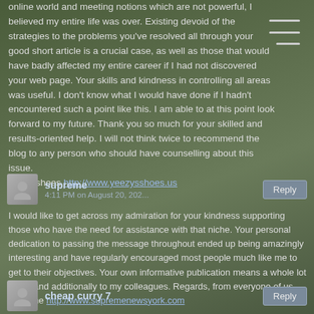online world and meeting notions which are not powerful, I believed my entire life was over. Existing devoid of the strategies to the problems you've resolved all through your good short article is a crucial case, as well as those that would have badly affected my entire career if I had not discovered your web page. Your skills and kindness in controlling all areas was useful. I don't know what I would have done if I hadn't encountered such a point like this. I am able to at this point look forward to my future. Thank you so much for your skilled and results-oriented help. I will not think twice to recommend the blog to any person who should have counselling about this issue. yeezy shoes http://www.yeezysshoes.us
supreme
4:11 PM on August 20, 202...
I would like to get across my admiration for your kindness supporting those who have the need for assistance with that niche. Your personal dedication to passing the message throughout ended up being amazingly interesting and have regularly encouraged most people much like me to get to their objectives. Your own informative publication means a whole lot to me and additionally to my colleagues. Regards, from everyone of us. supreme http://www.supremenewsyork.com
cheap curry 7